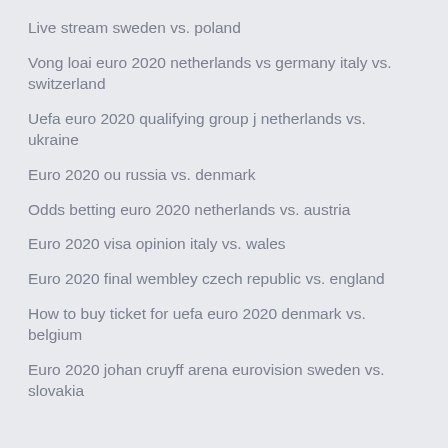Live stream sweden vs. poland
Vong loai euro 2020 netherlands vs germany italy vs. switzerland
Uefa euro 2020 qualifying group j netherlands vs. ukraine
Euro 2020 ou russia vs. denmark
Odds betting euro 2020 netherlands vs. austria
Euro 2020 visa opinion italy vs. wales
Euro 2020 final wembley czech republic vs. england
How to buy ticket for uefa euro 2020 denmark vs. belgium
Euro 2020 johan cruyff arena eurovision sweden vs. slovakia